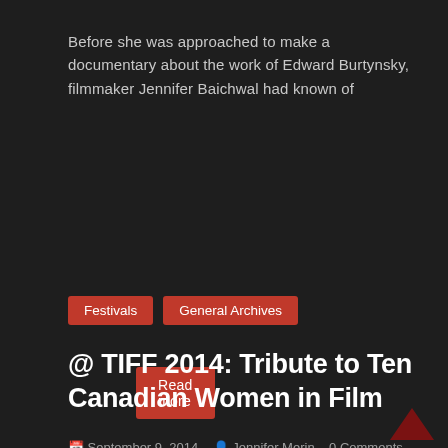Before she was approached to make a documentary about the work of Edward Burtynsky, filmmaker Jennifer Baichwal had known of
Read more
Festivals   General Archives
@ TIFF 2014: Tribute to Ten Canadian Women in Film
September 9, 2014   Jennifer Merin   0 Comments   birk black diamond tribute, jennifer baichwal, katherine monk, linda barnard, TIFF, toronto international film festival, women in film
Ten Canadian women directors and actors who have had an outstanding year are being honored at TIFF 2014 on September